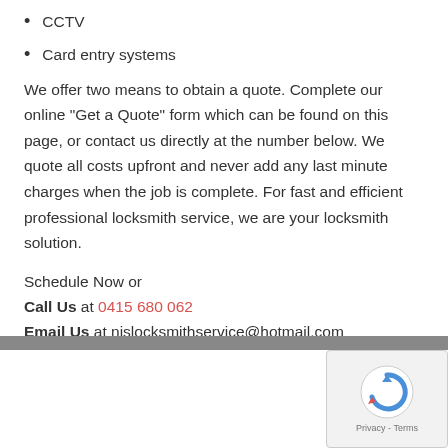CCTV
Card entry systems
We offer two means to obtain a quote. Complete our online “Get a Quote” form which can be found on this page, or contact us directly at the number below. We quote all costs upfront and never add any last minute charges when the job is complete. For fast and efficient professional locksmith service, we are your locksmith solution.
Schedule Now or
Call Us at 0415 680 062
Email Us at njslocksmithservice@hotmail.com
[Figure (photo): Partial image strip visible at the bottom of the content area]
[Figure (logo): Google reCAPTCHA widget with circular arrow icon and Privacy - Terms text]